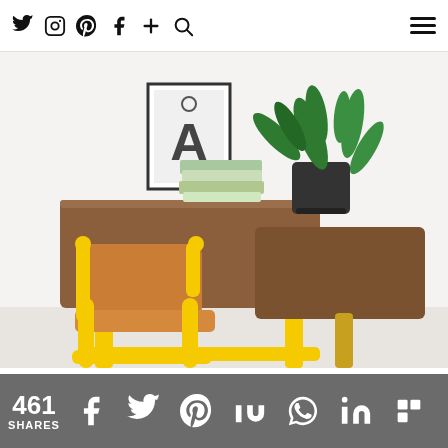Navigation bar with social icons: Twitter, Instagram, Pinterest, Facebook, Plus, Search, and hamburger menu
[Figure (photo): A vintage yellow metal school desk and chair set with a wooden top surface. On the desk are stacked green books and a potted green fern plant in a black pot. On the wall behind is a framed poster with a large letter 'Å'. The background is white.]
461 SHARES — social share icons: Facebook, Twitter, Pinterest, Flipboard/Mix, WhatsApp, LinkedIn, Flipboard